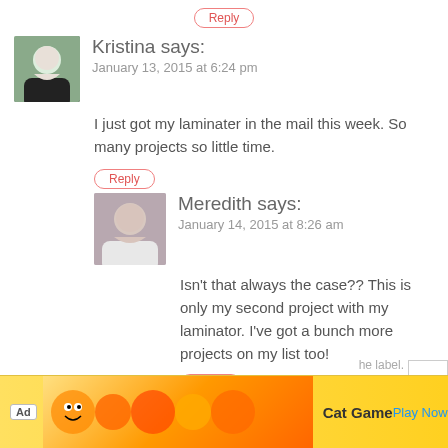Reply
Kristina says:
January 13, 2015 at 6:24 pm
I just got my laminater in the mail this week. So many projects so little time.
Reply
Meredith says:
January 14, 2015 at 8:26 am
Isn't that always the case?? This is only my second project with my laminator. I've got a bunch more projects on my list too!
Reply
Michele @ Our Rosey Life says:
January 14, 2015 at 10:01 am
[Figure (screenshot): Ad banner for Cat Game app with cartoon animal characters on yellow background, 'Ad' label, 'Cat Game' text, and 'Play Now' link]